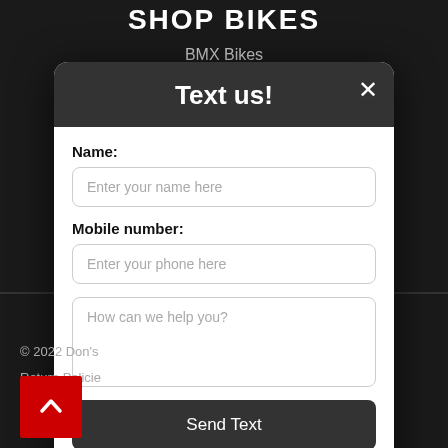SHOP BIKES
BMX Bikes
[Figure (screenshot): Text us! modal dialog with Name field (Enter your name here), Mobile number field (Enter your phone here), textarea (How can we help you?), Send Text button, and Powered by Ikeono branding]
© 2022 Don's
Return Policie